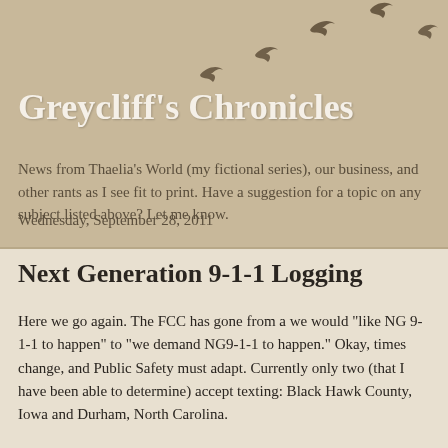[Figure (illustration): Silhouettes of birds in flight arranged diagonally across the top of the page against a tan/beige background]
Greycliff's Chronicles
News from Thaelia's World (my fictional series), our business, and other rants as I see fit to print. Have a suggestion for a topic on any subject listed above? Let me know.
Wednesday, September 28, 2011
Next Generation 9-1-1 Logging
Here we go again. The FCC has gone from a we would "like NG 9-1-1 to happen" to "we demand NG9-1-1 to happen." Okay, times change, and Public Safety must adapt. Currently only two (that I have been able to determine) accept texting: Black Hawk County, Iowa and Durham, North Carolina.